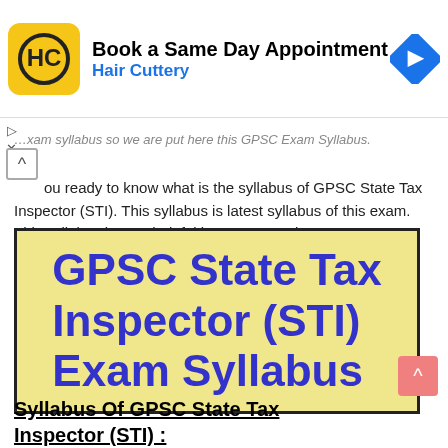[Figure (infographic): Hair Cuttery advertisement banner with logo and navigation arrow icon. Text: 'Book a Same Day Appointment' and 'Hair Cuttery']
…xam syllabus so we are put here this GPSC Exam Syllabus. you ready to know what is the syllabus of GPSC State Tax Inspector (STI). This syllabus is latest syllabus of this exam. This syllabus is very helpful in your upcoming STI Exam.
[Figure (illustration): Beige/tan background box with bold blue text reading: GPSC State Tax Inspector (STI) Exam Syllabus]
Syllabus Of GPSC State Tax Inspector (STI) :